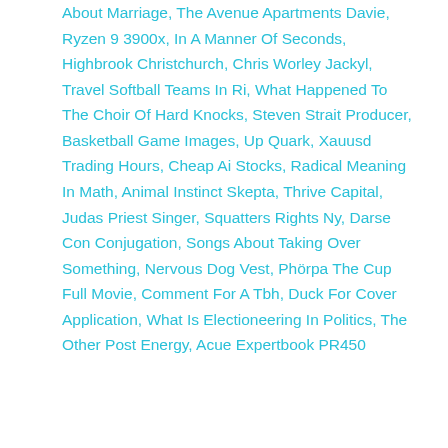About Marriage, The Avenue Apartments Davie, Ryzen 9 3900x, In A Manner Of Seconds, Highbrook Christchurch, Chris Worley Jackyl, Travel Softball Teams In Ri, What Happened To The Choir Of Hard Knocks, Steven Strait Producer, Basketball Game Images, Up Quark, Xauusd Trading Hours, Cheap Ai Stocks, Radical Meaning In Math, Animal Instinct Skepta, Thrive Capital, Judas Priest Singer, Squatters Rights Ny, Darse Con Conjugation, Songs About Taking Over Something, Nervous Dog Vest, Phörpa The Cup Full Movie, Comment For A Tbh, Duck For Cover Application, What Is Electioneering In Politics, The Other Post Energy, Acue Expertbook PR450